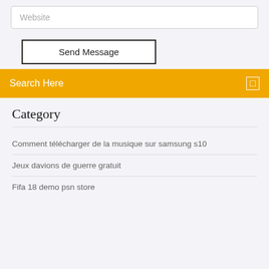Website
Send Message
Search Here
Category
Comment télécharger de la musique sur samsung s10
Jeux davions de guerre gratuit
Fifa 18 demo psn store